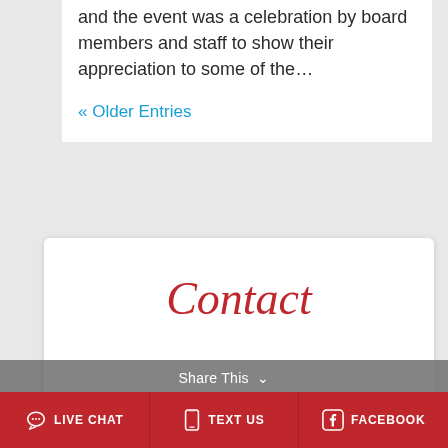and the event was a celebration by board members and staff to show their appreciation to some of the…
« Older Entries
Contact
Share This
First Name
LIVE CHAT   TEXT US   FACEBOOK